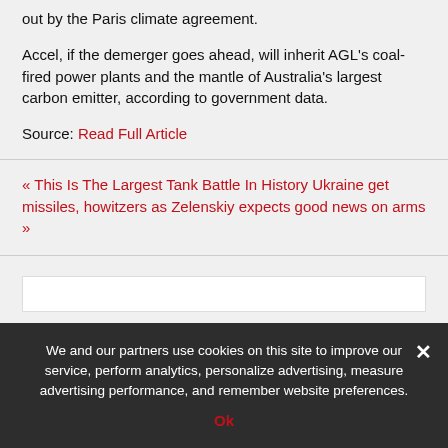out by the Paris climate agreement.
Accel, if the demerger goes ahead, will inherit AGL’s coal-fired power plants and the mantle of Australia’s largest carbon emitter, according to government data.
Source: Read Full Article
« This Is The Largest Tank Battle In History Ukraine get missiles, howitzers as Zelenskiy expects good news on arms »
We and our partners use cookies on this site to improve our service, perform analytics, personalize advertising, measure advertising performance, and remember website preferences.
Ok